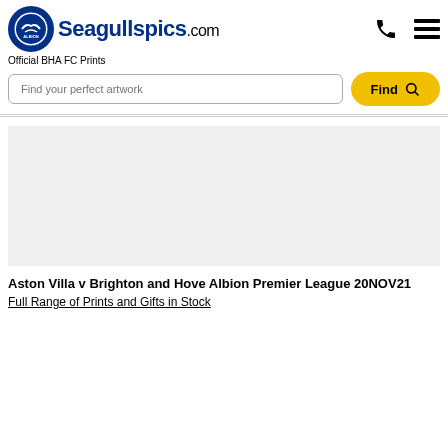[Figure (logo): Seagullspics.com logo with Brighton and Hove Albion FC circular badge on the left and the site name on the right]
Official BHA FC Prints
Find your perfect artwork
Find
[Figure (photo): Large blank/placeholder image area for product photo]
Aston Villa v Brighton and Hove Albion Premier League 20NOV21
Full Range of Prints and Gifts in Stock